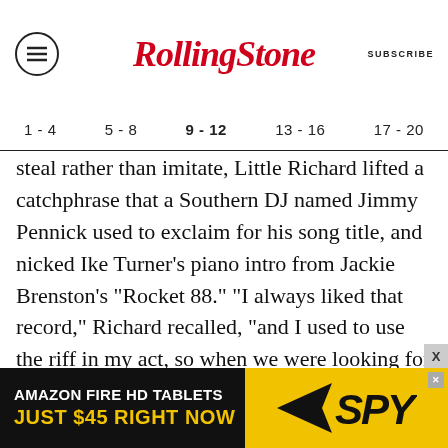RollingStone | SUBSCRIBE
1 - 4   5 - 8   9 - 12   13 - 16   17 - 20
steal rather than imitate, Little Richard lifted a catchphrase that a Southern DJ named Jimmy Pennick used to exclaim for his song title, and nicked Ike Turner's piano intro from Jackie Brenston's "Rocket 88." "I always liked that record," Richard recalled, "and I used to use the riff in my act, so when we were looking for a lead-in to 'Good Golly, Miss Molly,' I did that and it fit." But of course, "Good Golly, Miss Molly" never sounds like anything less than Little Richard, his voice pushing dangerously into the red on each
[Figure (other): AMAZON FIRE HD TABLETS advertisement banner — JUST $45 RIGHT NOW — SPY logo on yellow background]